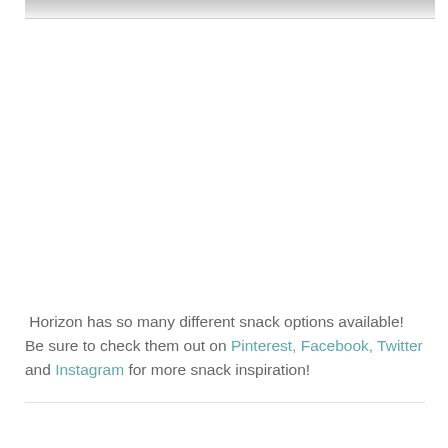[Figure (photo): Partial photograph visible at top edge of the page, appears to be a food/snack related image, mostly cropped off.]
Horizon has so many different snack options available!  Be sure to check them out on Pinterest, Facebook, Twitter and Instagram for more snack inspiration!